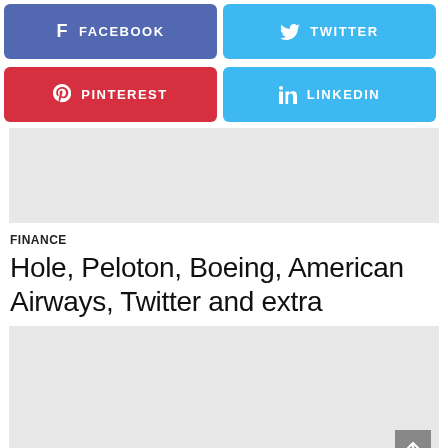[Figure (infographic): Four social media share buttons: Facebook (blue-purple), Twitter (light blue), Pinterest (red), LinkedIn (light blue)]
[Figure (other): Gray advertisement placeholder block]
FINANCE
Hole, Peloton, Boeing, American Airways, Twitter and extra
[Figure (other): Gray advertisement placeholder block with scroll-to-top button]